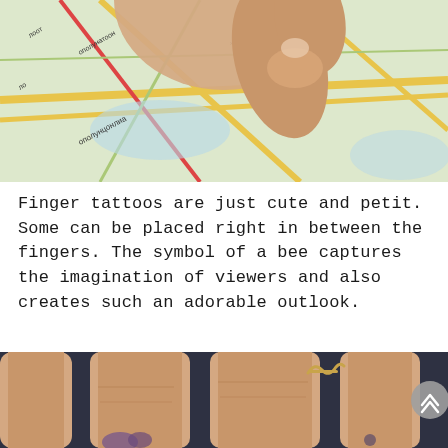[Figure (photo): Close-up photo of a hand pointing at a colorful road map. The map shows roads in yellow, green, and red with Cyrillic or Eastern European place name labels visible.]
Finger tattoos are just cute and petit. Some can be placed right in between the fingers. The symbol of a bee captures the imagination of viewers and also creates such an adorable outlook.
[Figure (photo): Close-up photo of four fingers side by side against a dark blue fabric background. A gold wave-shaped ring is worn on one finger, and a small decorative tattoo is visible at the base of the fingers.]